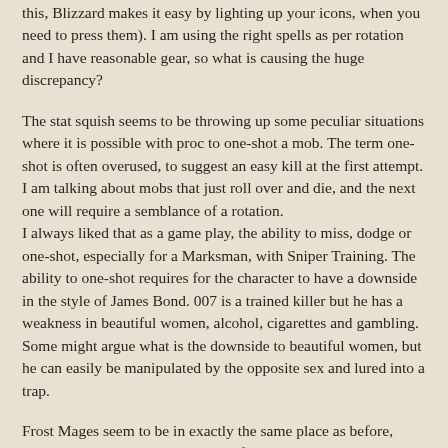this, Blizzard makes it easy by lighting up your icons, when you need to press them). I am using the right spells as per rotation and I have reasonable gear, so what is causing the huge discrepancy?
The stat squish seems to be throwing up some peculiar situations where it is possible with proc to one-shot a mob. The term one-shot is often overused, to suggest an easy kill at the first attempt. I am talking about mobs that just roll over and die, and the next one will require a semblance of a rotation.
I always liked that as a game play, the ability to miss, dodge or one-shot, especially for a Marksman, with Sniper Training. The ability to one-shot requires for the character to have a downside in the style of James Bond. 007 is a trained killer but he has a weakness in beautiful women, alcohol, cigarettes and gambling. Some might argue what is the downside to beautiful women, but he can easily be manipulated by the opposite sex and lured into a trap.
Frost Mages seem to be in exactly the same place as before, minus the one spell that is missing from my action...